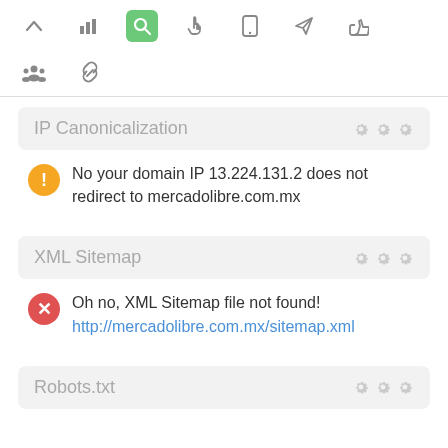[Figure (screenshot): Navigation toolbar with icons: chevron up, bar chart, search (active/green), hand pointer, mobile phone, send/paper plane, thumbs up]
[Figure (screenshot): Secondary toolbar row with two icons: group of people, chain/link]
IP Canonicalization
No your domain IP 13.224.131.2 does not redirect to mercadolibre.com.mx
XML Sitemap
Oh no, XML Sitemap file not found! http://mercadolibre.com.mx/sitemap.xml
Robots.txt